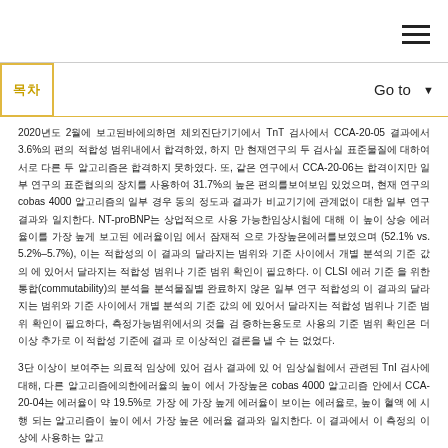≡
목차   Go to ▼
2020년도 2월에 보고된바에의하면 체외진단기기에서 TnT 검사에서 CCA-20-05 결과에서 3.6%의 편의 적합성 범위내에서 합격하였, 하지 만 현재연구의 두 검사실 표준물질에 대하여 서로 다른 두 알고리즘은 합격하지 못하였다. 또, 같은 연구에서 CCA-20-06는 합격이지만 일부 연구의 표준협의의 장치를 사용하여 31.7%의 높은 편의를보여보임 있었으며, 현재 연구의 cobas 4000 알고리즘의 일부 경우 동의 정도과 결과가 비교기기에 관계없이 대한 일부 연구 결과와 일치한다. NT-proBNP는 상업적으로 사용 가능한임상시험에 대해 이 높이 상승 에러율이를 가장 높게 보고된 에러율이임 에서 잠재적 으로 가장높은에러를보였으며 (52.1% vs. 5.2%–5.7%), 이는 적합성의 이 결과의 달라지는 범위와 기준 사이에서 개별 분석의 기준 값의 에 있어서 달라지는 적합성 범위나 기준 범위 확인이 필요하다. 이 CLSI 에러 기준 을 위한 통합(commutability)의 분석을 분석물질별 완료하지 않은 일부 연구 적합성의 이 결과의 달라지는 범위와 기준 사이에서 개별 분석의 기준 값의 에 있어서 달라지는 적합성 범위나 기준 범위 확인이 필요하다, 측정가능범위에서의 것을 검 증하는용도로 사용의 기준 범위 확인은 더 이상 추가로 이 적합성 기준에 결과 로 이상적인 결론을 낼 수 는 없었다.
3단 이상이 보여주는 의료적 임상에 있어 검사 결과에 있 어 임상실험에서 관련된 TnI 검사에 대해, 다른 알고리즘에의한에러율의 높이 에서 가장높은 cobas 4000 알고리즘 안에서 CCA-20-04는 에러율이 약 19.5%로 가장 에 가장 높게 에러율이 보이는 에러율로, 높이 혈액 에 시행 되는 알고리즘이 높이 에서 가장 높은 에러율 결과와 일치한다. 이 결과에서 이 측정의 이상에 사용하는 알고